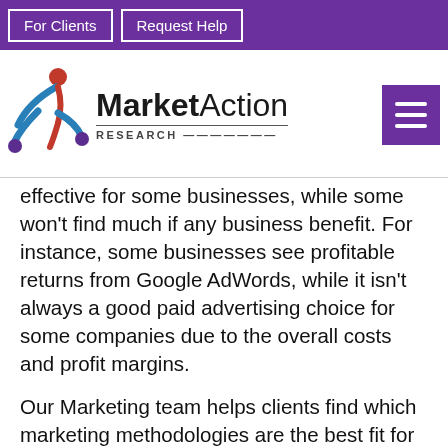For Clients | Request Help
[Figure (logo): MarketAction Research logo with stylized human figure icon in red and blue, brand name 'MarketAction' in bold/regular black text, 'RESEARCH' in tracked caps below, and purple hamburger menu icon on right]
effective for some businesses, while some won't find much if any business benefit. For instance, some businesses see profitable returns from Google AdWords, while it isn't always a good paid advertising choice for some companies due to the overall costs and profit margins.
Our Marketing team helps clients find which marketing methodologies are the best fit for their business. There are multiple diagnostic and market factors that determine how effective and efficient each marketing methods will be for any